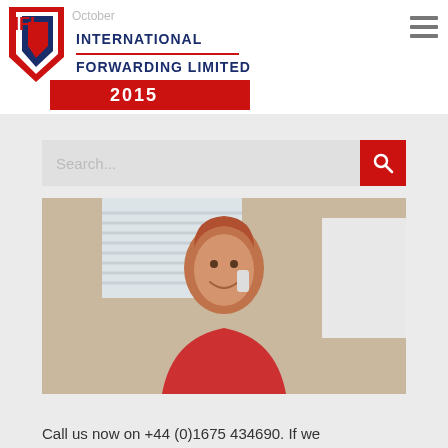[Figure (logo): IFL International Forwarding Limited logo with red chevron/arrow shape and navy blue text]
October
2015
[Figure (photo): Woman with red hair smiling and talking on a phone, sitting at a desk in an office setting]
Call us now on +44 (0)1675 434690. If we